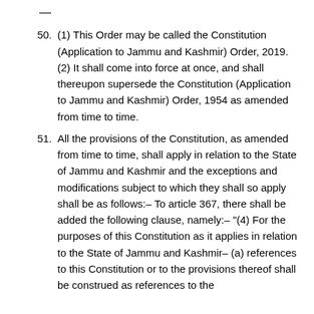—
50. (1) This Order may be called the Constitution (Application to Jammu and Kashmir) Order, 2019. (2) It shall come into force at once, and shall thereupon supersede the Constitution (Application to Jammu and Kashmir) Order, 1954 as amended from time to time.
51. All the provisions of the Constitution, as amended from time to time, shall apply in relation to the State of Jammu and Kashmir and the exceptions and modifications subject to which they shall so apply shall be as follows:– To article 367, there shall be added the following clause, namely:– "(4) For the purposes of this Constitution as it applies in relation to the State of Jammu and Kashmir– (a) references to this Constitution or to the provisions thereof shall be construed as references to the